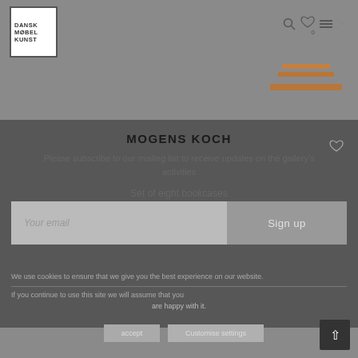DANSK MØBEL KUNST
MOGENS KOCH
Please subscribe to our mailing list to receive updates on the gallery's activities
Set of eight bookcases
Your email
Sign up
We use cookies to ensure that we give you the best experience on our website. If you continue to use this site we will assume that you are happy with it.
accept
Customise settings